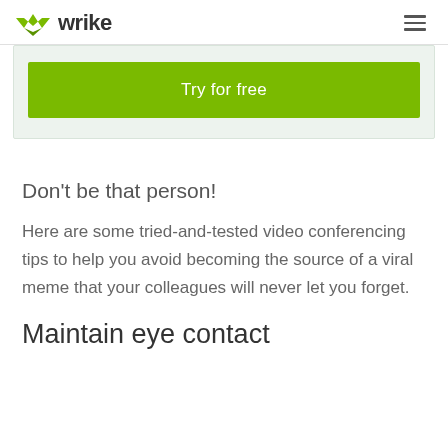wrike
[Figure (other): Green 'Try for free' call-to-action button inside a light grey/green box]
Don't be that person!
Here are some tried-and-tested video conferencing tips to help you avoid becoming the source of a viral meme that your colleagues will never let you forget.
Maintain eye contact